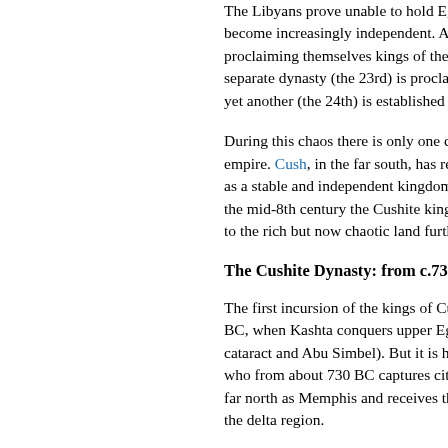The Libyans prove unable to hold Egypt together and the local governors become increasingly independent. At one time there are several rulers proclaiming themselves kings of their regions simultaneously. A new separate dynasty (the 23rd) is proclaimed in Hermopolis, and yet another (the 24th) is established in the l...
During this chaos there is only one calm re... empire. Cush, in the far south, has recently... as a stable and independent kingdom in a t... the mid-8th century the Cushite king is Kas... to the rich but now chaotic land further dow...
The Cushite Dynasty: from c.730 BC
The first incursion of the kings of Cush into... BC, when Kashta conquers upper Egypt (th... cataract and Abu Simbel). But it is his son P... who from about 730 BC captures cities the... far north as Memphis and receives the sub... the delta region.
After this achievement Piye retires to his ca... builds a great temple to Amen-Re. But it is... control of Egypt from as far south as Napat... the Cushite or 25th dynasty is therefore the... Shabaka, who succeeds him in about 719 b...
Shabaka renews the campaign to the north... descendant of the previous Egyptian dynas... have burnt alive) and installing himself secu... Memphis.
Here he and and his descendants might we...